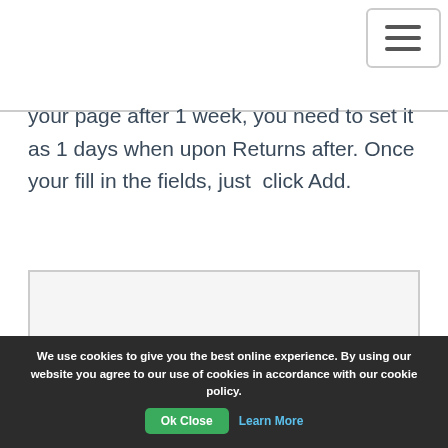[Figure (screenshot): Hamburger menu button in top-right corner with three horizontal lines]
your page after 1 week, you need to set it as 1 days when upon Returns after. Once your fill in the fields, just  click Add.
[Figure (screenshot): Light gray rectangular image placeholder box]
We use cookies to give you the best online experience. By using our website you agree to our use of cookies in accordance with our cookie policy. Ok Close Learn More